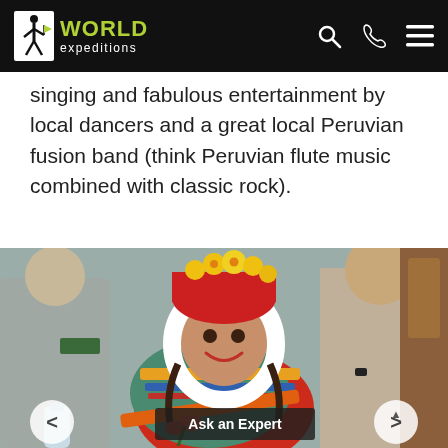[Figure (logo): World Expeditions logo: hiker icon with green WORLD text and white 'expeditions' text on black background, with search, phone, and menu icons on the right]
singing and fabulous entertainment by local dancers and a great local Peruvian fusion band (think Peruvian flute music combined with classic rock).
[Figure (photo): A young woman in traditional Peruvian costume with a red hat adorned with yellow flowers and colorful embroidered clothing, smiling at the camera inside what appears to be a train car. Other tourists are visible in the background. Navigation arrows (< and >) appear at the bottom corners, and an 'Ask an Expert' button is centered at the bottom of the image.]